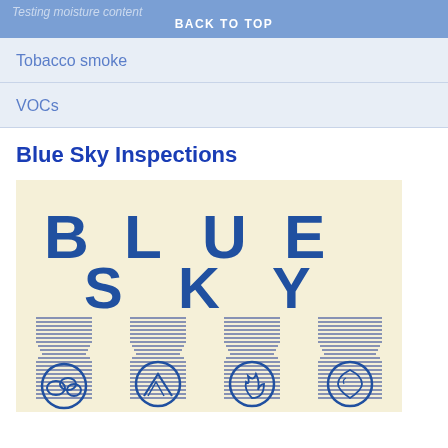Testing moisture content
BACK TO TOP
Tobacco smoke
VOCs
Blue Sky Inspections
[Figure (logo): Blue Sky Inspections logo: text 'BLUE SKY' in large blocky blue letters above four stylized flask/beaker icons with horizontal line patterns, each containing a different symbol (cloud, mountain/mold, flame, water drop) in blue on a cream/yellow background]